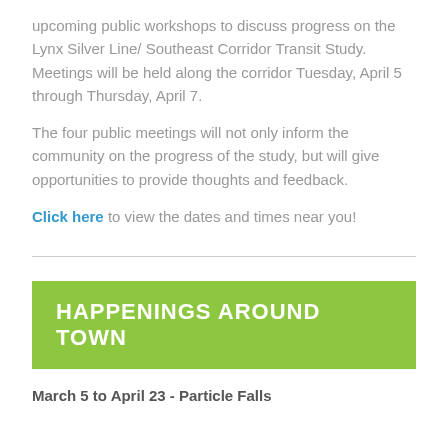upcoming public workshops to discuss progress on the Lynx Silver Line/ Southeast Corridor Transit Study. Meetings will be held along the corridor Tuesday, April 5 through Thursday, April 7.
The four public meetings will not only inform the community on the progress of the study, but will give opportunities to provide thoughts and feedback.
Click here to view the dates and times near you!
HAPPENINGS AROUND TOWN
March 5 to April 23 - Particle Falls